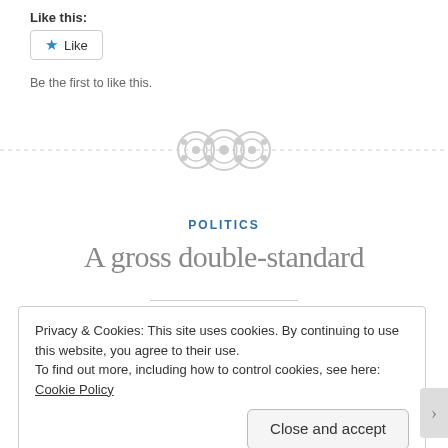Like this:
[Figure (other): Like button widget with blue star icon and text 'Like']
Be the first to like this.
[Figure (other): Decorative section divider with three circular gear/button icons centered on a dashed horizontal line]
POLITICS
A gross double-standard
Privacy & Cookies: This site uses cookies. By continuing to use this website, you agree to their use.
To find out more, including how to control cookies, see here: Cookie Policy
Close and accept